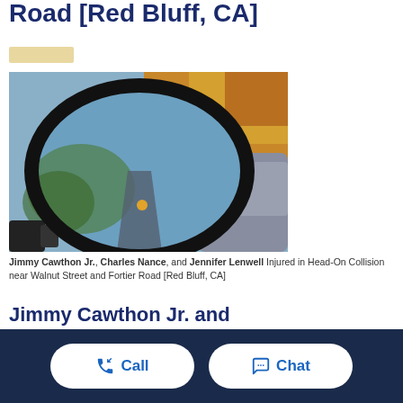Road [Red Bluff, CA]
[Figure (photo): Close-up photograph of a car side mirror reflecting a road through autumn trees with another vehicle following behind.]
Jimmy Cawthon Jr., Charles Nance, and Jennifer Lenwell Injured in Head-On Collision near Walnut Street and Fortier Road [Red Bluff, CA]
Jimmy Cawthon Jr. and
Call   Chat